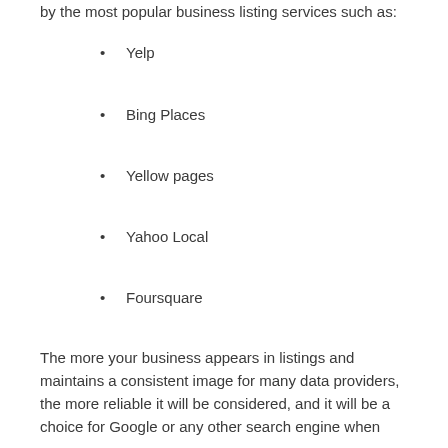by the most popular business listing services such as:
Yelp
Bing Places
Yellow pages
Yahoo Local
Foursquare
The more your business appears in listings and maintains a consistent image for many data providers, the more reliable it will be considered, and it will be a choice for Google or any other search engine when someone